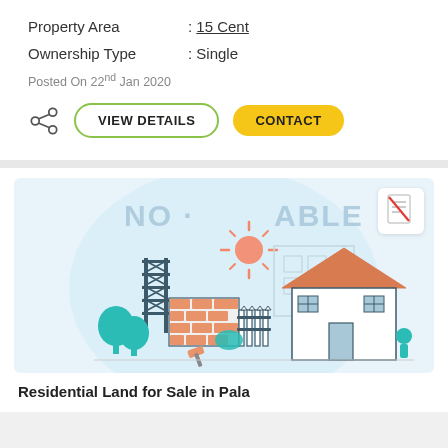Property Area : 15 Cent
Ownership Type : Single
Posted On 22nd Jan 2020
[Figure (illustration): Real estate listing illustration showing a house under construction with trees, bricks, fence, sun, and scaffolding. Watermark text 'NO IMAGE AVAILABLE' visible. Small document icon badge in top right corner.]
Residential Land for Sale in Pala